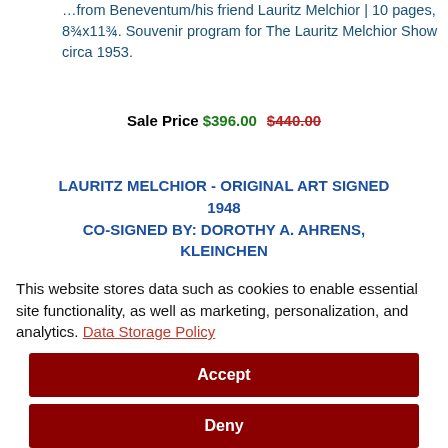…from Beneventum/his friend Lauritz Melchior | 10 pages, 8¾x11¾. Souvenir program for The Lauritz Melchior Show circa 1953.
Sale Price $396.00  $440.00
LAURITZ MELCHIOR - ORIGINAL ART SIGNED 1948 CO-SIGNED BY: DOROTHY A. AHRENS, KLEINCHEN MELCHIOR - HFSID 155450
LAURITZ MELCHIOR KLEINCHEN MELCHIOR and DOROTHY A. AHRENS Pencil drawing of baritone Lauritz
This website stores data such as cookies to enable essential site functionality, as well as marketing, personalization, and analytics. Data Storage Policy
Accept
Deny